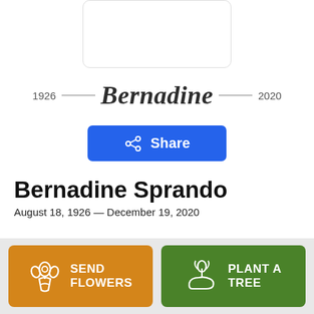[Figure (logo): US Army circular seal/badge partially visible at top, showing text ARMY and gold stars on green and black background]
1926 — Bernadine — 2020
[Figure (other): Blue Share button with share icon]
Bernadine Sprando
August 18, 1926 — December 19, 2020
[Figure (other): Orange SEND FLOWERS button with flower bouquet icon]
[Figure (other): Green PLANT A TREE button with seedling/hand icon]